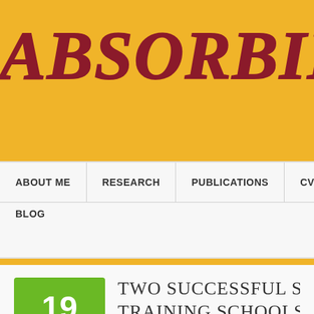ABSORBING STOR
ABOUT ME | RESEARCH | PUBLICATIONS | CV | BLOG
TWO SUCCESSFUL S… TRAINING SCHOOLS…
by Moniek Kuijpers · Leave a Comment